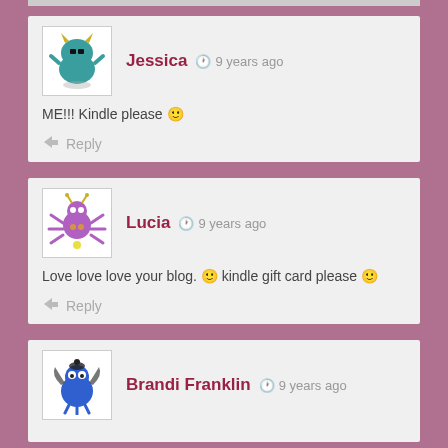Jessica · 9 years ago
ME!!! Kindle please 🙂
Reply
Lucia · 9 years ago
Love love love your blog. 🙂 kindle gift card please 🙂
Reply
Brandi Franklin · 9 years ago